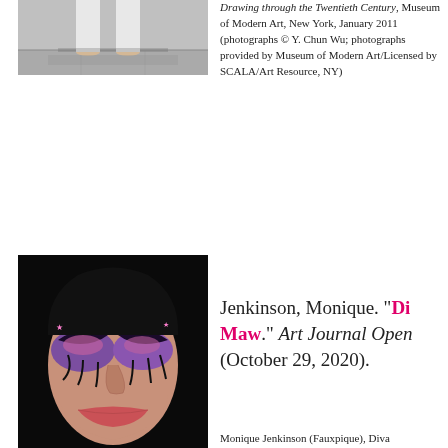[Figure (photo): Top portion of a photograph showing feet and floor, from an exhibition at Museum of Modern Art]
Drawing through the Twentieth Century, Museum of Modern Art, New York, January 2011 (photographs © Y. Chun Wu; photographs provided by Museum of Modern Art/Licensed by SCALA/Art Resource, NY)
[Figure (photo): Photograph of a performer (Monique Jenkinson / Fauxnique) as Diva, with dramatic purple and pink face makeup, black background]
Jenkinson, Monique. “Di Maw.” Art Journal Open (October 29, 2020).
Monique Jenkinson (Fauxnique), Diva